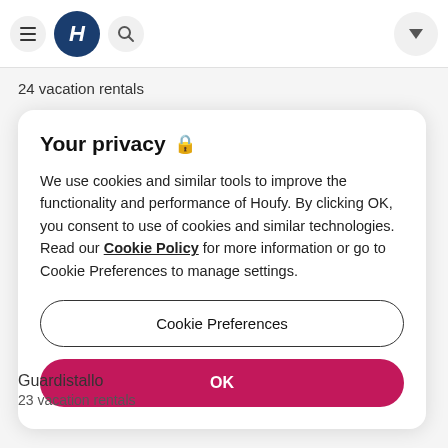Houfy navigation bar with hamburger menu, H logo, search icon, and dropdown button
24 vacation rentals
Your privacy 🔒
We use cookies and similar tools to improve the functionality and performance of Houfy. By clicking OK, you consent to use of cookies and similar technologies. Read our Cookie Policy for more information or go to Cookie Preferences to manage settings.
Cookie Preferences
OK
Guardistallo
23 vacation rentals